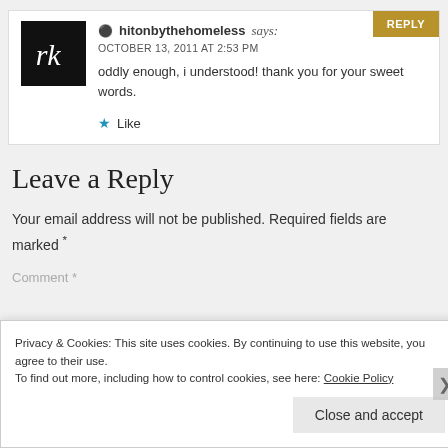REPLY
hitonbythehomeless says:
OCTOBER 13, 2011 AT 2:53 PM
oddly enough, i understood! thank you for your sweet words.
★ Like
Leave a Reply
Your email address will not be published. Required fields are marked *
Privacy & Cookies: This site uses cookies. By continuing to use this website, you agree to their use.
To find out more, including how to control cookies, see here: Cookie Policy
Close and accept